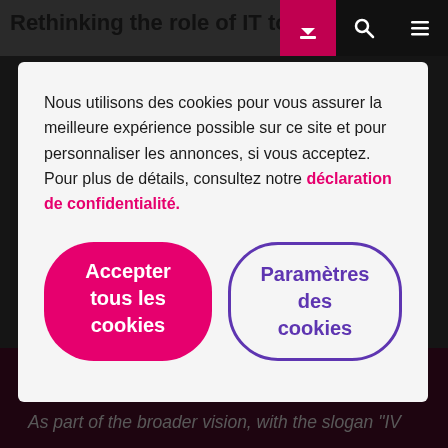Rethinking the role of IT to fos…
Nous utilisons des cookies pour vous assurer la meilleure expérience possible sur ce site et pour personnaliser les annonces, si vous acceptez. Pour plus de détails, consultez notre déclaration de confidentialité.
Accepter tous les cookies
Paramètres des cookies
cooperate, ensuring timely and proper functioning of systems and applications.
As part of the broader vision, with the slogan "IV